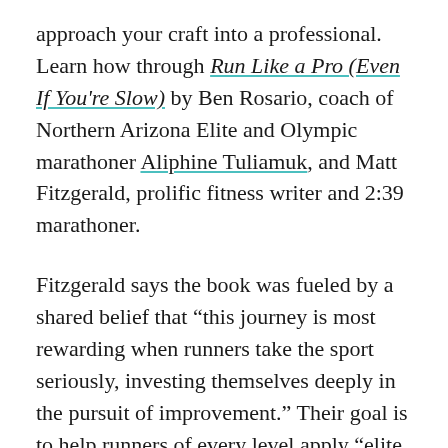approach your craft into a professional. Learn how through Run Like a Pro (Even If You're Slow) by Ben Rosario, coach of Northern Arizona Elite and Olympic marathoner Aliphine Tuliamuk, and Matt Fitzgerald, prolific fitness writer and 2:39 marathoner.
Fitzgerald says the book was fueled by a shared belief that “this journey is most rewarding when runners take the sport seriously, investing themselves deeply in the pursuit of improvement.” Their goal is to help runners of every level apply “elite best practices in a way that fits their lifestyles and goals.” (March 1 publication)